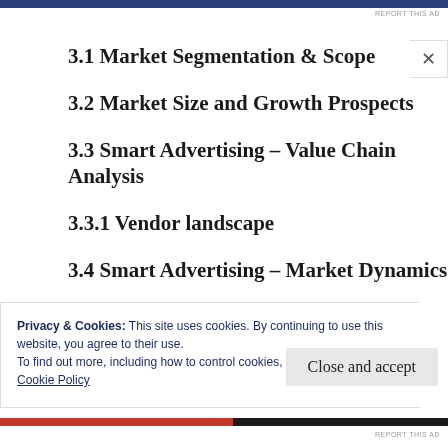3.1 Market Segmentation & Scope
3.2 Market Size and Growth Prospects
3.3 Smart Advertising – Value Chain Analysis
3.3.1 Vendor landscape
3.4 Smart Advertising – Market Dynamics
Privacy & Cookies: This site uses cookies. By continuing to use this website, you agree to their use.
To find out more, including how to control cookies, see here:
Cookie Policy
Close and accept